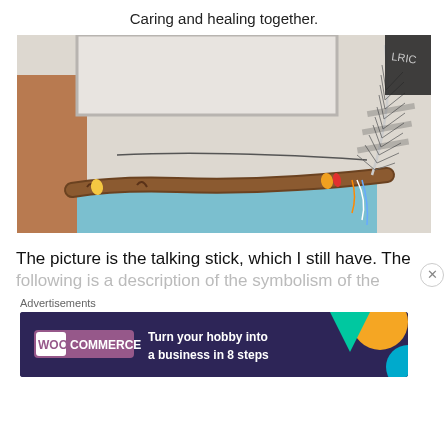Caring and healing together.
[Figure (photo): Photo of a talking stick — a wooden branch decorated with colorful rubber bands and tied strings, with a large striped feather attached at one end, lying on a light surface with a blue mat underneath]
The picture is the talking stick, which I still have. The following is a description of the symbolism of the...
Advertisements
[Figure (other): WooCommerce advertisement banner: dark purple background with teal and orange triangle shapes, WooCommerce logo, text 'Turn your hobby into a business in 8 steps']